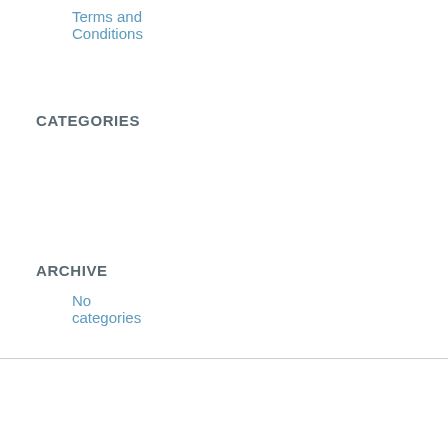Terms and Conditions
CATEGORIES
No categories
ARCHIVE
© Copyright - Wikingerparts
Imprint | Data Protection Notices | Partner-links